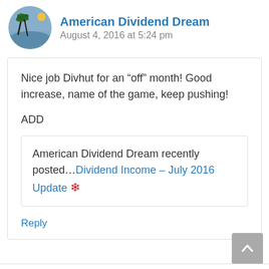American Dividend Dream
August 4, 2016 at 5:24 pm
Nice job Divhut for an “off” month! Good increase, name of the game, keep pushing!
ADD
American Dividend Dream recently posted…Dividend Income – July 2016 Update
Reply